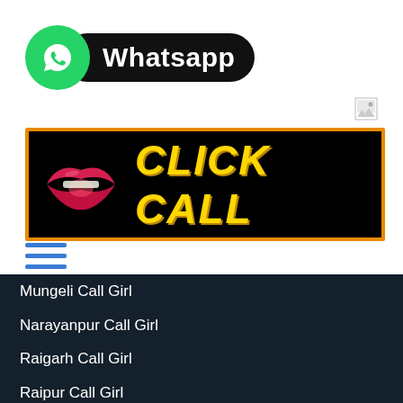[Figure (logo): WhatsApp logo icon - green circle with phone/chat icon, followed by black pill-shaped label reading 'Whatsapp' in white bold text]
[Figure (illustration): Broken image placeholder icon (small, top right area)]
[Figure (other): Black banner with orange border featuring red lips graphic on left and bold yellow italic text reading 'CLICK CALL']
[Figure (other): Hamburger menu icon - three horizontal blue lines stacked]
Mungeli Call Girl
Narayanpur Call Girl
Raigarh Call Girl
Raipur Call Girl
Rajnandgaon Call Girl
Sukma Call Girl